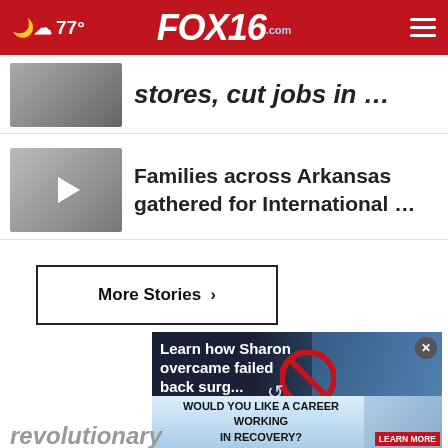77° FOX16.com
stores, cut jobs in …
Families across Arkansas gathered for International …
More Stories >
[Figure (screenshot): Advertisement video showing text: Learn how Sharon overcame failed back surg... with a no-symbol overlay and replay button]
WOULD YOU LIKE A CAREER WORKING IN RECOVERY?
revolutionary